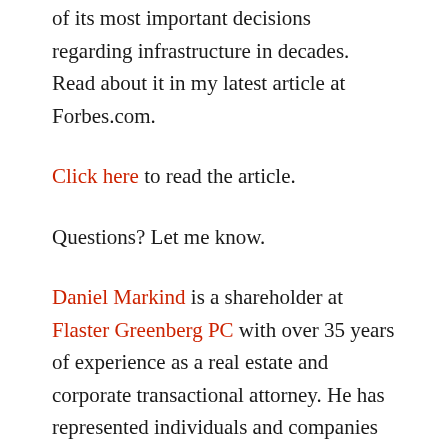of its most important decisions regarding infrastructure in decades.  Read about it in my latest article at Forbes.com.
Click here to read the article.
Questions? Let me know.
Daniel Markind is a shareholder at Flaster Greenberg PC with over 35 years of experience as a real estate and corporate transactional attorney. He has represented individuals and companies in the energy industry for over 20 years. Dan is a frequent lecturer on Marcellus Shale and other mineral extraction issues and is regularly asked to speak at conferences, in the media and at other venues regarding energy issues and their